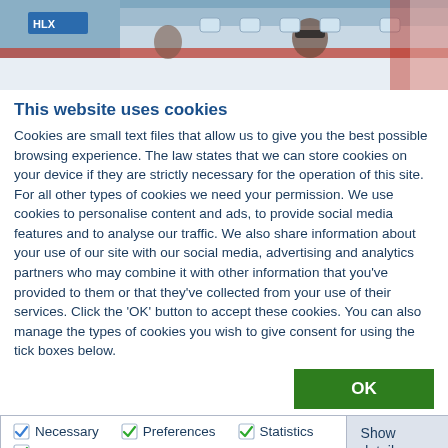[Figure (photo): Top banner showing partial view of an airplane with people, taken from below/side angle. Red and white aircraft livery visible.]
This website uses cookies
Cookies are small text files that allow us to give you the best possible browsing experience. The law states that we can store cookies on your device if they are strictly necessary for the operation of this site. For all other types of cookies we need your permission. We use cookies to personalise content and ads, to provide social media features and to analyse our traffic. We also share information about your use of our site with our social media, advertising and analytics partners who may combine it with other information that you've provided to them or that they've collected from your use of their services. Click the 'OK' button to accept these cookies. You can also manage the types of cookies you wish to give consent for using the tick boxes below.
OK
Necessary   Preferences   Statistics   Marketing   Show details